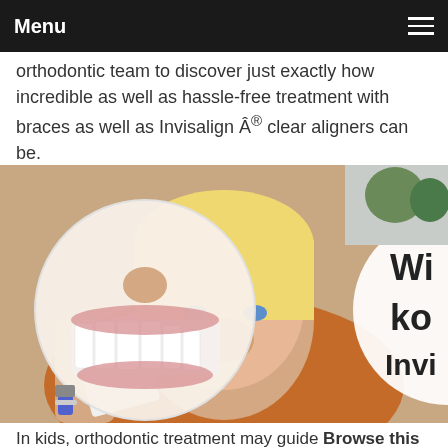Menu
orthodontic team to discover just exactly how incredible as well as hassle-free treatment with braces as well as Invisalign Â® clear aligners can be.
[Figure (photo): A blonde woman holding up an Invisalign aligner packet near her face, with a large circular close-up overlay showing misaligned teeth, and a partial circle on the right with text 'Wi ko Invis']
In kids, orthodontic treatment may guide Browse this